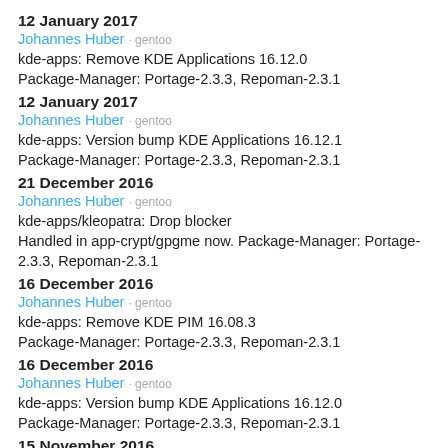12 January 2017
Johannes Huber · gentoo
kde-apps: Remove KDE Applications 16.12.0
Package-Manager: Portage-2.3.3, Repoman-2.3.1
12 January 2017
Johannes Huber · gentoo
kde-apps: Version bump KDE Applications 16.12.1
Package-Manager: Portage-2.3.3, Repoman-2.3.1
21 December 2016
Johannes Huber · gentoo
kde-apps/kleopatra: Drop blocker
Handled in app-crypt/gpgme now. Package-Manager: Portage-2.3.3, Repoman-2.3.1
16 December 2016
Johannes Huber · gentoo
kde-apps: Remove KDE PIM 16.08.3
Package-Manager: Portage-2.3.3, Repoman-2.3.1
16 December 2016
Johannes Huber · gentoo
kde-apps: Version bump KDE Applications 16.12.0
Package-Manager: Portage-2.3.3, Repoman-2.3.1
15 November 2016